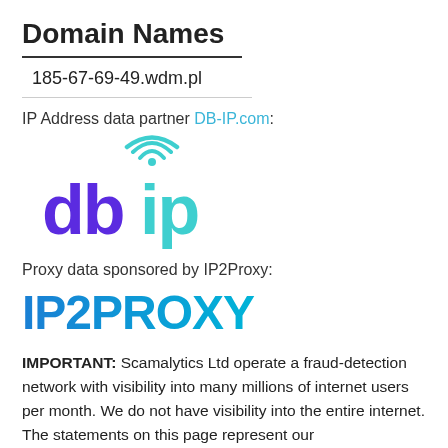Domain Names
185-67-69-49.wdm.pl
IP Address data partner DB-IP.com:
[Figure (logo): DB-IP logo: 'db' in purple bold lowercase, 'ip' in teal bold lowercase, with teal wifi/signal arc above the 'i' dot]
Proxy data sponsored by IP2Proxy:
[Figure (logo): IP2PROXY logo in bold gradient blue uppercase text]
IMPORTANT: Scamalytics Ltd operate a fraud-detection network with visibility into many millions of internet users per month. We do not have visibility into the entire internet. The statements on this page represent our